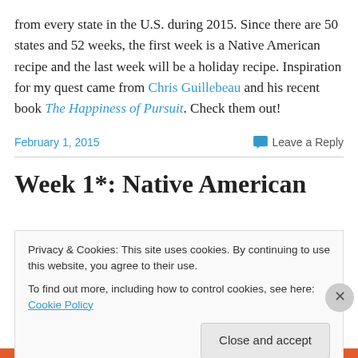from every state in the U.S. during 2015. Since there are 50 states and 52 weeks, the first week is a Native American recipe and the last week will be a holiday recipe. Inspiration for my quest came from Chris Guillebeau and his recent book The Happiness of Pursuit. Check them out!
February 1, 2015   Leave a Reply
Week 1*: Native American
Privacy & Cookies: This site uses cookies. By continuing to use this website, you agree to their use.
To find out more, including how to control cookies, see here: Cookie Policy
Close and accept